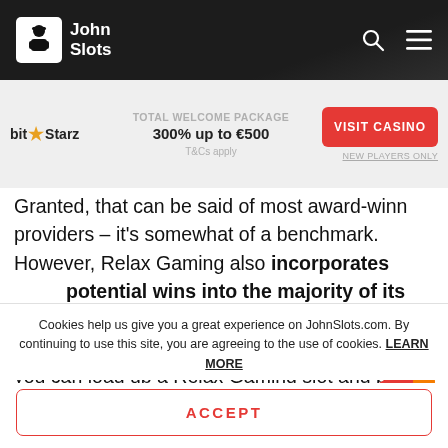John Slots
[Figure (infographic): BitStarz casino promo bar: TOTAL WELCOME PACKAGE 300% up to €500, VISIT CASINO button, NEW PLAYERS ONLY, T&Cs apply]
Granted, that can be said of most award-winning providers – it's somewhat of a benchmark. However, Relax Gaming also incorporates huge potential wins into the majority of its slot titles. Therefore, the days of relying on jackpot slots for huge wins are long gone. Now, you can load up a Relax Gaming slot and be in with the chance of
[Figure (illustration): Red circular email notification icon with envelope and orange notification dot]
Cookies help us give you a great experience on JohnSlots.com. By continuing to use this site, you are agreeing to the use of cookies. LEARN MORE
ACCEPT